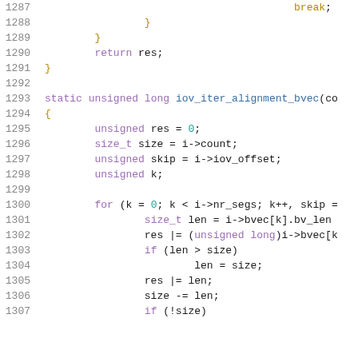[Figure (other): Source code listing (C language) showing lines 1287-1307 of a file, including a break statement, closing braces, return statement, and a new function iov_iter_alignment_bvec with variable declarations and a for loop.]